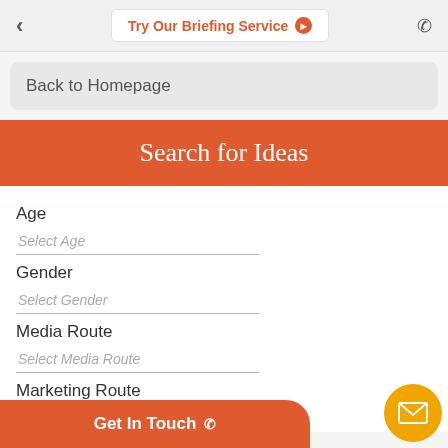Try Our Briefing Service
Back to Homepage
Search for Ideas
Age
Select Age
Gender
Select Gender
Media Route
Select Media Route
Marketing Route
Select Marketing Route
Get In Touch